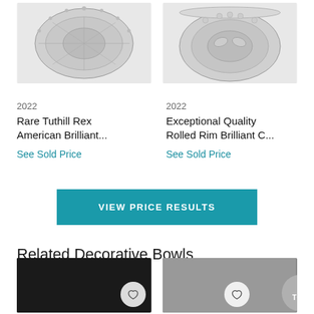[Figure (photo): Crystal cut glass bowl viewed from above, Tuthill Rex American Brilliant pattern, black and white photo]
[Figure (photo): Crystal cut glass bowl with rolled rim, Exceptional Quality Brilliant Cut pattern, black and white photo]
2022
Rare Tuthill Rex American Brilliant...
See Sold Price
2022
Exceptional Quality Rolled Rim Brilliant C...
See Sold Price
VIEW PRICE RESULTS
Related Decorative Bowls
[Figure (photo): Dark/black background product photo of decorative bowl with heart favorite button]
[Figure (photo): Gray background product photo of decorative bowl with heart favorite button and TOP scroll button]